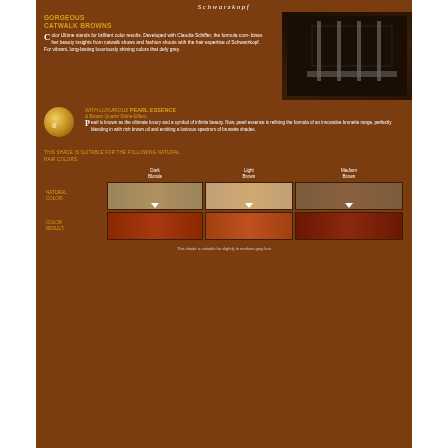[Figure (photo): Schwarzkopf hair color product packaging - back of box showing 'Gorgeous Catwalk Browns' Color Ultime with pearl essence description, natural hair color comparison swatches (Dark Blonde, Light Brown, Medium Brown) showing before and after color results]
[Figure (photo): Thumbnail of Schwarzkopf Color Ultime hair dye product box - front view]
[Figure (photo): Thumbnail of Schwarzkopf Color Ultime hair dye product box - alternative angle]
[Figure (photo): Thumbnail of Schwarzkopf Color Ultime hair dye product - side/back view]
8.2
If you don't want to dye your hair cinnamon brown, which will